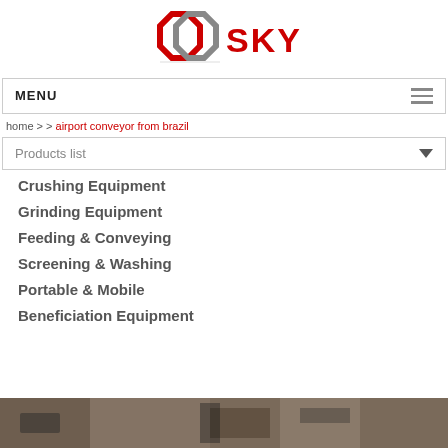[Figure (logo): GO SKY company logo with red and gray interlocked octagon shapes and red SKY text]
MENU
home > > airport conveyor from brazil
Products list
Crushing Equipment
Grinding Equipment
Feeding & Conveying
Screening & Washing
Portable & Mobile
Beneficiation Equipment
[Figure (photo): Industrial conveyor equipment photo at bottom of page]